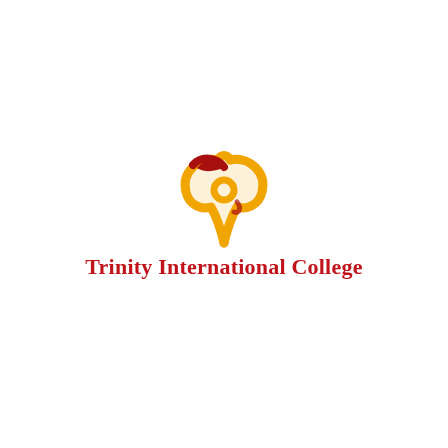[Figure (logo): Trinity International College logo: an abstract triquetra/trinity knot symbol in gold/orange and dark red, above the text 'Trinity International College' in dark red serif font.]